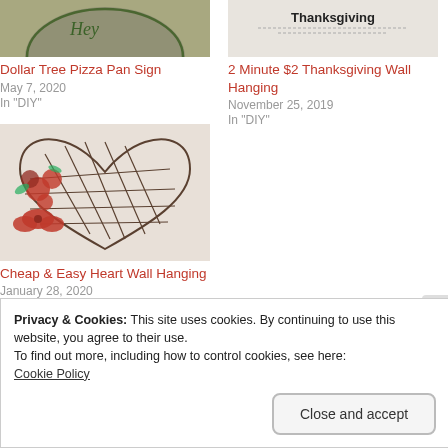[Figure (photo): Partial image of a decorative pizza pan sign at top left]
Dollar Tree Pizza Pan Sign
May 7, 2020
In "DIY"
[Figure (photo): Partial image showing 'Thanksgiving' text at top right]
2 Minute $2 Thanksgiving Wall Hanging
November 25, 2019
In "DIY"
[Figure (photo): Heart-shaped wire grid wall hanging with red roses and bow decoration]
Cheap & Easy Heart Wall Hanging
January 28, 2020
In "DIY"
Privacy & Cookies: This site uses cookies. By continuing to use this website, you agree to their use.
To find out more, including how to control cookies, see here:
Cookie Policy
Close and accept